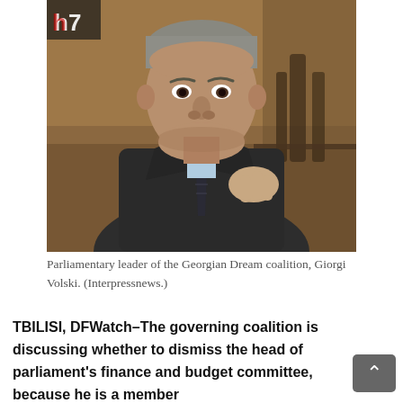[Figure (photo): A middle-aged man in a dark suit and tie, gesturing with his right hand, photographed at a formal or semi-formal event. A logo reading 'h7' or similar appears in the top-left corner of the image. The background shows a warm, wood-paneled interior.]
Parliamentary leader of the Georgian Dream coalition, Giorgi Volski. (Interpressnews.)
TBILISI, DFWatch–The governing coalition is discussing whether to dismiss the head of parliament's finance and budget committee, because he is a member